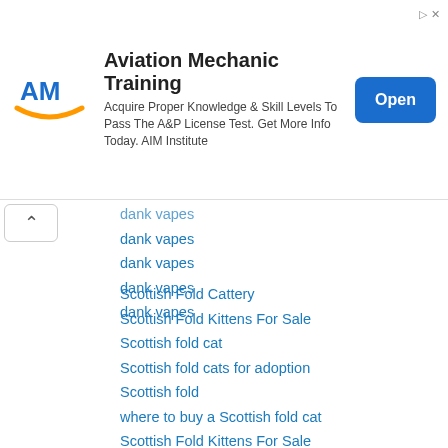[Figure (other): Advertisement banner for AIM Institute - Aviation Mechanic Training with logo, text, and Open button]
dank vapes
dank vapes
dank vapes
dank vapes
dank vapes
Scottish Fold Cattery
Scottish Fold Kittens For Sale
Scottish fold cat
Scottish fold cats for adoption
Scottish fold
where to buy a Scottish fold cat
Scottish Fold Kittens For Sale
Scottish Fold Kittens For Sale
Scottish Fold Kittens For Sale
Scottish Fold Kittens For Sale
Scottish Fold Kittens For Sale
Scottish Fold Kittens For Sale